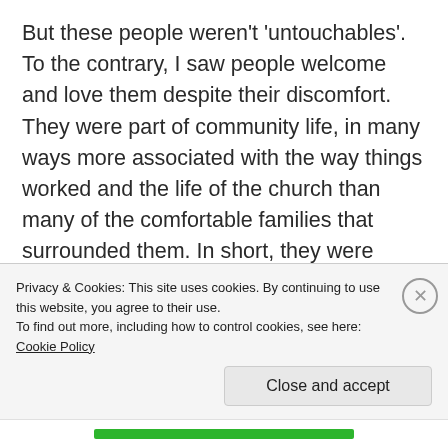But these people weren't 'untouchables'. To the contrary, I saw people welcome and love them despite their discomfort. They were part of community life, in many ways more associated with the way things worked and the life of the church than many of the comfortable families that surrounded them. In short, they were shown compassion, love and warmth, and they could carry themselves with dignity. In some cases, it was possible to see them grow into completely different people: people who had more humanity, intelligence and empathy than the average 'ordinary' person. And because they often spoke with less of the repressed
Privacy & Cookies: This site uses cookies. By continuing to use this website, you agree to their use.
To find out more, including how to control cookies, see here: Cookie Policy
Close and accept